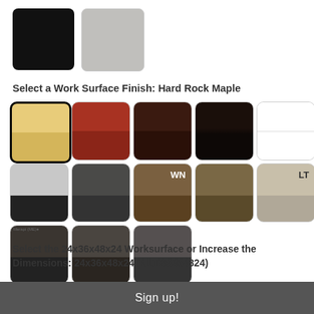[Figure (illustration): Two color swatches: black rounded square and light gray rounded square]
Select a Work Surface Finish:  Hard Rock Maple
[Figure (illustration): Grid of 13 wood/laminate finish swatches in 3 rows. Row 1: maple (selected/outlined), red cherry, dark espresso, near-black, white. Row 2: gray/black two-tone, dark gray two-tone, walnut (WN label), medium brown wood, light taupe (LT label). Row 3: dark linear wood (tagged), dark two-tone, dark gray.]
Select the 24x36x48x24 Worksurface or Increase the Dimensions:  24x36x48x24 (NLTBS364824)
Sign up!